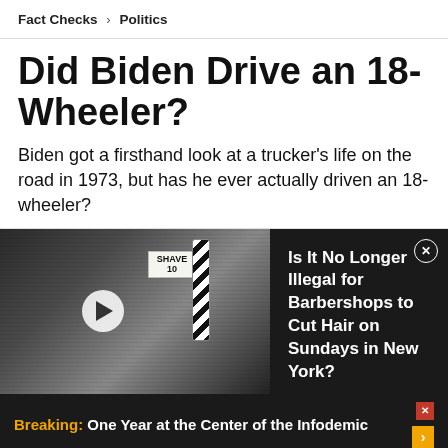Fact Checks › Politics
Did Biden Drive an 18-Wheeler?
Biden got a firsthand look at a trucker's life on the road in 1973, but has he ever actually driven an 18-wheeler?
[Figure (photo): Black and white vintage street scene with a barbershop pole and a SHAVE 10 sign; video play button overlay on left side. Right panel shows ad text: Is It No Longer Illegal for Barbershops to Cut Hair on Sundays in New York?]
Breaking: One Year at the Center of the Infodemic